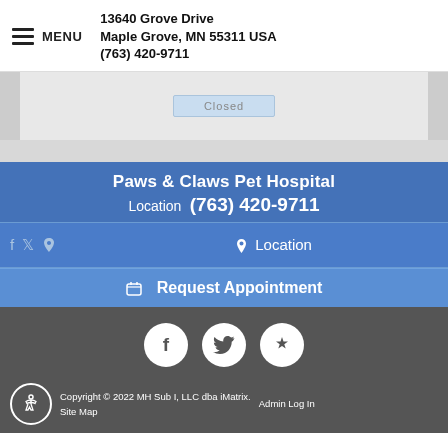MENU | 13640 Grove Drive Maple Grove, MN 55311 USA (763) 420-9711
[Figure (screenshot): Partial map snippet showing a closed location panel]
Paws & Claws Pet Hospital
Location  (763) 420-9711
Location
Request Appointment
[Figure (other): Three social media circular icons: Facebook (f), Twitter (bird), Yelp (star)]
Copyright © 2022 MH Sub I, LLC dba iMatrix. Admin Log In Site Map